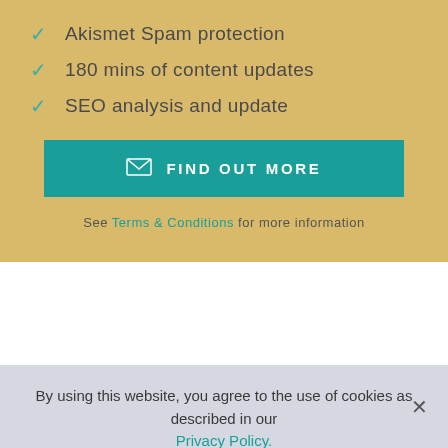Akismet Spam protection
180 mins of content updates
SEO analysis and update
FIND OUT MORE
See Terms & Conditions for more information
By using this website, you agree to the use of cookies as described in our Privacy Policy.